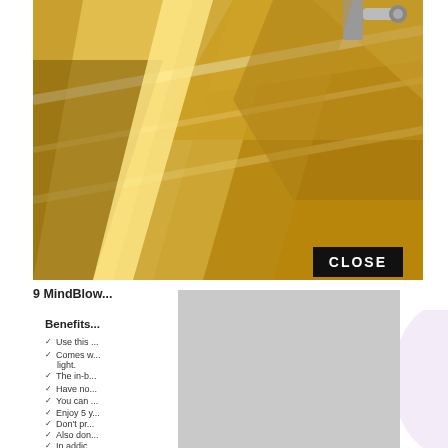[Figure (photo): Close-up photograph of metallic geometric shapes with warm golden LED lighting highlighting angular edges, with a silver fixture visible in the upper right corner.]
CLOSE
9 MindBlow...
Benefits...
Use this ...
Comes w... ...w of MH light.
The in-b...
Have no...
You can ...
Enjoy 5 y...
Don't pr...
Also don...
In addic... ...well including...